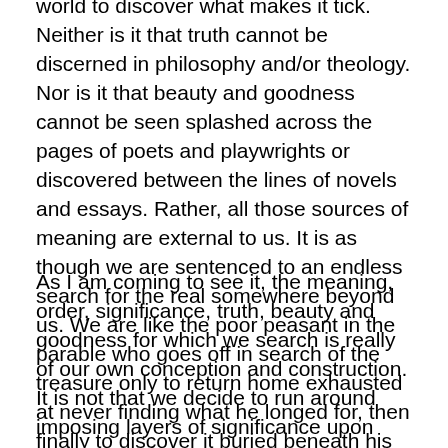world to discover what makes it tick. Neither is it that truth cannot be discerned in philosophy and/or theology. Nor is it that beauty and goodness cannot be seen splashed across the pages of poets and playwrights or discovered between the lines of novels and essays. Rather, all those sources of meaning are external to us. It is as though we are sentenced to an endless search for the real somewhere beyond us. We are like the poor peasant in the parable who goes off in search of the treasure only to return home exhausted at never finding what he longed for, then finally to discover it buried beneath his own hearth.
As I am coming to see it, the meaning, order, significance, truth, beauty and goodness for which we search is really of our own conception and construction. It is not that we decide to run around imposing layers of significance upon